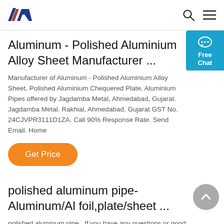AW logo, search icon, menu icon
Aluminum - Polished Aluminium Alloy Sheet Manufacturer ...
Manufacturer of Aluminum - Polished Aluminium Alloy Sheet, Polished Aluminium Chequered Plate, Aluminium Pipes offered by Jagdamba Metal, Ahmedabad, Gujarat. Jagdamba Metal. Rakhial, Ahmedabad, Gujarat GST No. 24CJVPR3111D1ZA. Call 90% Response Rate. Send Email. Home
Get Price
polished aluminum pipe- Aluminum/Al foil,plate/sheet ...
polished aluminum pipe . If you have any questions or good